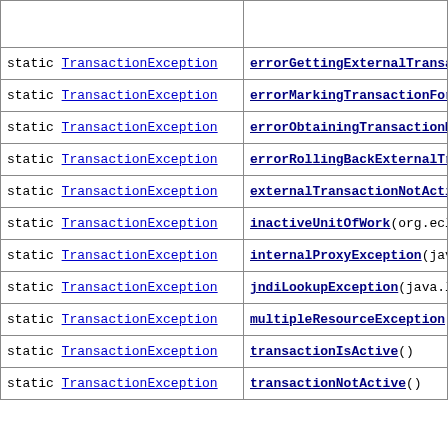| Modifier and Type | Method and Description |
| --- | --- |
| static TransactionException | errorGettingExternalTransactio... |
| static TransactionException | errorMarkingTransactionForRoll... |
| static TransactionException | errorObtainingTransactionManag... |
| static TransactionException | errorRollingBackExternalTransa... |
| static TransactionException | externalTransactionNotActive() |
| static TransactionException | inactiveUnitOfWork(org.eclipse... |
| static TransactionException | internalProxyException(java.la... |
| static TransactionException | jndiLookupException(java.lang.... |
| static TransactionException | multipleResourceException() |
| static TransactionException | transactionIsActive() |
| static TransactionException | transactionNotActive() |